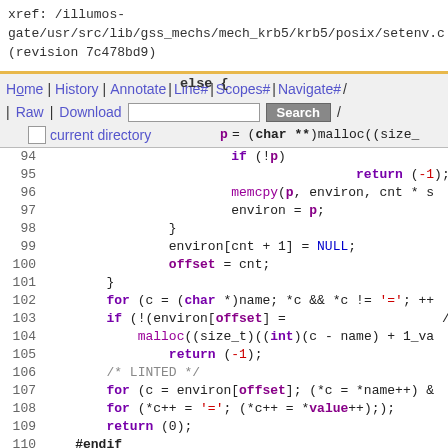xref: /illumos-gate/usr/src/lib/gss_mechs/mech_krb5/krb5/posix/setenv.c
(revision 7c478bd9)
Home | History | Annotate | Line# | Scopes# | Navigate# | Raw | Download [Search] current directory
[Figure (screenshot): Source code viewer navigation bar with links: Home, History, Annotate, Line#, Scopes#, Navigate#, Raw, Download, search box, and current directory link]
Code listing lines 91-115 of setenv.c showing C source code including else block, malloc, memcpy, environ manipulation, for loops, if statements, #endif, closing brace, and start of unsetenv function comment